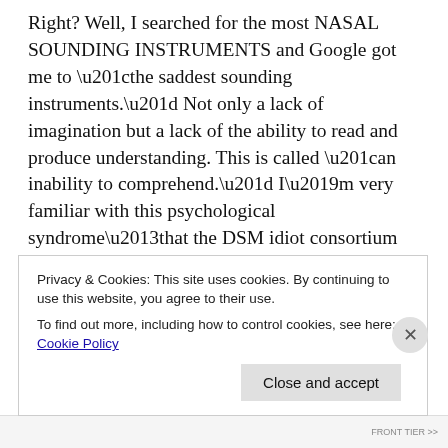Right? Well, I searched for the most NASAL SOUNDING INSTRUMENTS and Google got me to “the saddest sounding instruments.” Not only a lack of imagination but a lack of the ability to read and produce understanding. This is called “an inability to comprehend.” I’m very familiar with this psychological syndrome–that the DSM idiot consortium do not recognize–as it is a major component of my migraines: you understand every SINGLE word and not one bit of it all makes the least sense. Hi, Google!
I just watched the most amazing Western with and
Privacy & Cookies: This site uses cookies. By continuing to use this website, you agree to their use.
To find out more, including how to control cookies, see here: Cookie Policy